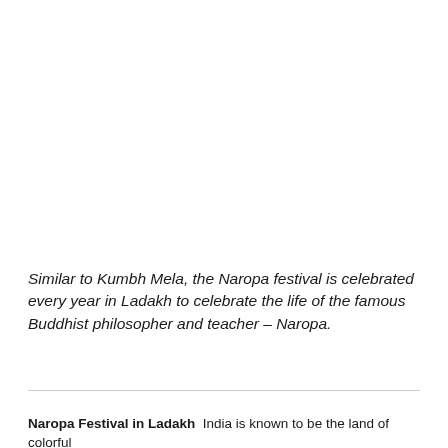Similar to Kumbh Mela, the Naropa festival is celebrated every year in Ladakh to celebrate the life of the famous Buddhist philosopher and teacher – Naropa.
Naropa Festival in Ladakh  India is known to be the land of colorful